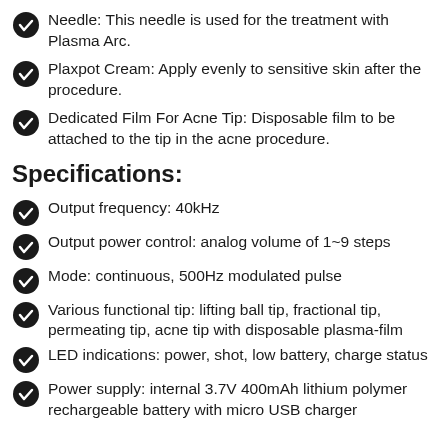Needle: This needle is used for the treatment with Plasma Arc.
Plaxpot Cream: Apply evenly to sensitive skin after the procedure.
Dedicated Film For Acne Tip: Disposable film to be attached to the tip in the acne procedure.
Specifications:
Output frequency: 40kHz
Output power control: analog volume of 1~9 steps
Mode: continuous, 500Hz modulated pulse
Various functional tip: lifting ball tip, fractional tip, permeating tip, acne tip with disposable plasma-film
LED indications: power, shot, low battery, charge status
Power supply: internal 3.7V 400mAh lithium polymer rechargeable battery with micro USB charger